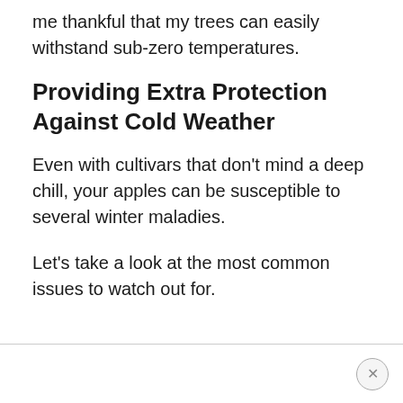me thankful that my trees can easily withstand sub-zero temperatures.
Providing Extra Protection Against Cold Weather
Even with cultivars that don’t mind a deep chill, your apples can be susceptible to several winter maladies.
Let’s take a look at the most common issues to watch out for.